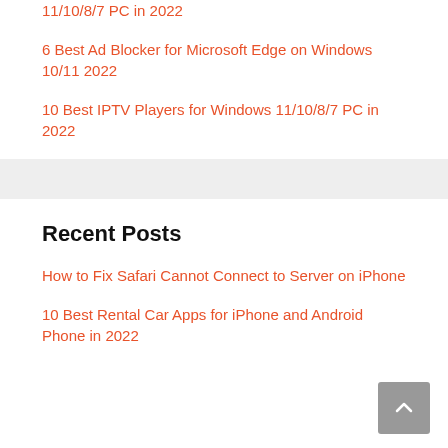11/10/8/7 PC in 2022
6 Best Ad Blocker for Microsoft Edge on Windows 10/11 2022
10 Best IPTV Players for Windows 11/10/8/7 PC in 2022
Recent Posts
How to Fix Safari Cannot Connect to Server on iPhone
10 Best Rental Car Apps for iPhone and Android Phone in 2022